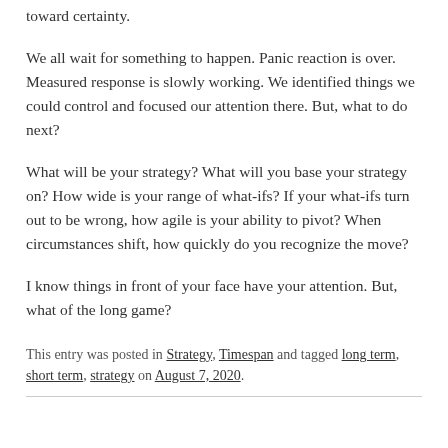toward certainty.
We all wait for something to happen. Panic reaction is over. Measured response is slowly working. We identified things we could control and focused our attention there. But, what to do next?
What will be your strategy? What will you base your strategy on? How wide is your range of what-ifs? If your what-ifs turn out to be wrong, how agile is your ability to pivot? When circumstances shift, how quickly do you recognize the move?
I know things in front of your face have your attention. But, what of the long game?
This entry was posted in Strategy, Timespan and tagged long term, short term, strategy on August 7, 2020.